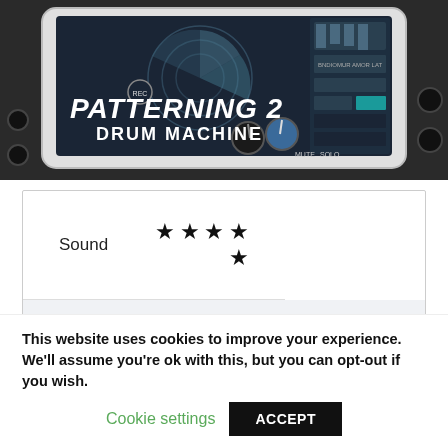[Figure (screenshot): Screenshot of Patterning 2 Drum Machine app on an iPad, shown against a dark background with analog drum machine hardware. White text overlay reads 'PATTERNING 2 DRUM MACHINE'.]
| Category | Rating |
| --- | --- |
| Sound | ★★★★★ |
| Features | ★★★★½ |
| Ease Of Use | ★★★★½ |
This website uses cookies to improve your experience. We'll assume you're ok with this, but you can opt-out if you wish.
Cookie settings
ACCEPT